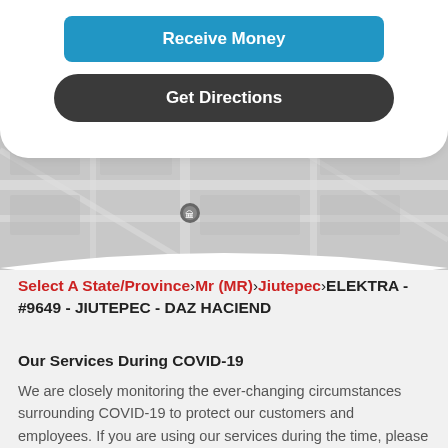[Figure (screenshot): Blue 'Receive Money' button at top of mobile app UI]
[Figure (screenshot): Dark 'Get Directions' button below Receive Money button]
[Figure (map): Partial map view showing a location pin, gray tones, street map]
Select A State/Province > Mr (MR) > Jiutepec > ELEKTRA - #9649 - JIUTEPEC - DAZ HACIEND
Our Services During COVID-19
We are closely monitoring the ever-changing circumstances surrounding COVID-19 to protect our customers and employees. If you are using our services during the time, please remember to: